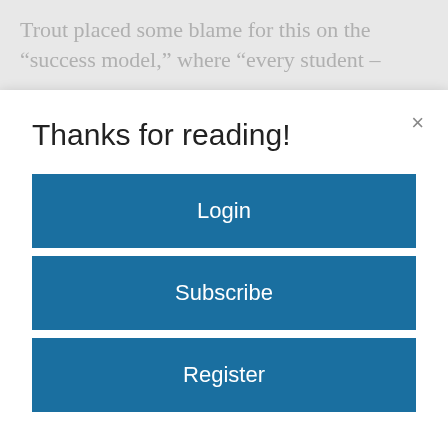Trout placed some blame for this on the “success model,” where “every student –
Thanks for reading!
×
Login
Subscribe
Register